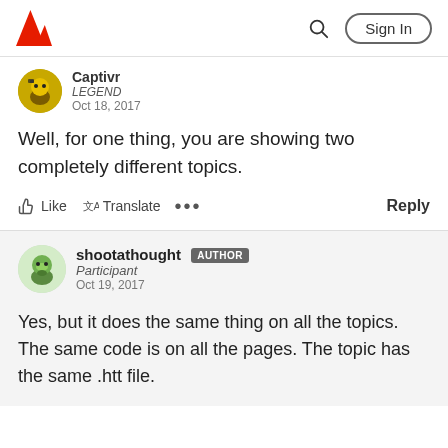Adobe | Sign In
Captivr
LEGEND
Oct 18, 2017
Well, for one thing, you are showing two completely different topics.
Like   Translate   ...   Reply
shootathought  AUTHOR
Participant
Oct 19, 2017
Yes, but it does the same thing on all the topics. The same code is on all the pages. The topic has the same .htt file.